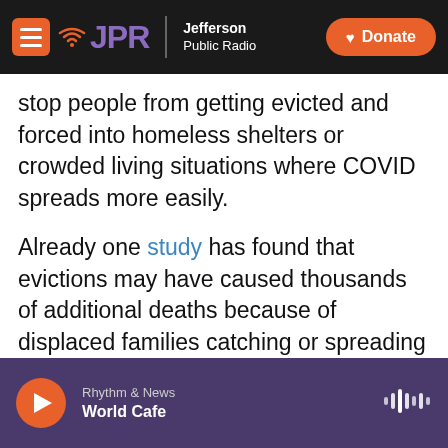JPR Jefferson Public Radio | Donate
stop people from getting evicted and forced into homeless shelters or crowded living situations where COVID spreads more easily.
Already one study has found that evictions may have caused thousands of additional deaths because of displaced families catching or spreading COVID-19.
The Eviction Lab at Princeton University, which is following the issue in many cities and states, says it has tracked nearly 250,000 eviction filings since mid-March. The CDC order is preventing many of
Rhythm & News
World Cafe